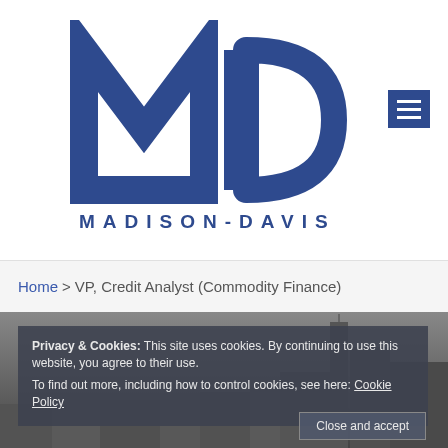[Figure (logo): Madison-Davis MD logo in blue with company name MADISON-DAVIS below in spaced blue letters]
Home > VP, Credit Analyst (Commodity Finance)
[Figure (photo): Black and white aerial cityscape photo of New York skyline in background]
Privacy & Cookies: This site uses cookies. By continuing to use this website, you agree to their use.
To find out more, including how to control cookies, see here: Cookie Policy
Close and accept